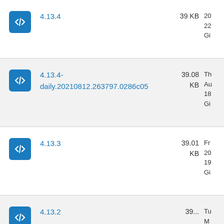4.13.4  39 KB  20 22 Gi
4.13.4-daily.20210812.263797.0286c05  39.08 KB  Thu Au 18 Gi
4.13.3  39.01 KB  Fr 20 19 Gi
4.13.2  39... Tu M 20 18 Gi